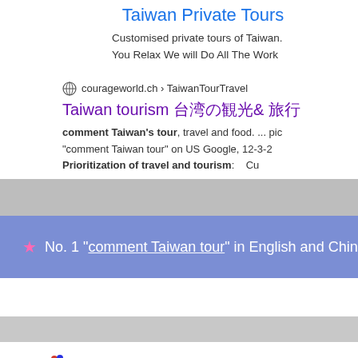Taiwan Private Tours
Customised private tours of Taiwan.
You Relax We will Do All The Work
courageworld.ch › TaiwanTourTravel
Taiwan tourism 台湾の観光& 旅行
comment Taiwan's tour, travel and food. ... pic
"comment Taiwan tour" on US Google, 12-3-2
Prioritization of travel and tourism: Cu
No. 1 "comment Taiwan tour" in English and Chin
[Figure (screenshot): Baidu search bar with logo and search query 'comment taiwan restaurants']